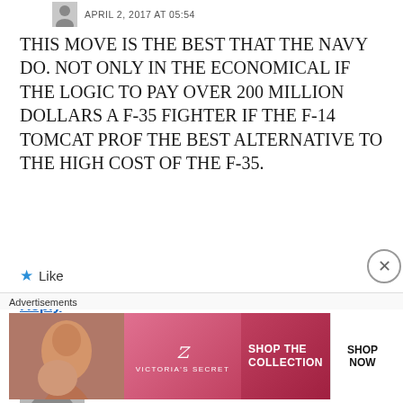APRIL 2, 2017 AT 05:54
THIS MOVE IS THE BEST THAT THE NAVY DO. NOT ONLY IN THE ECONOMICAL IF THE LOGIC TO PAY OVER 200 MILLION DOLLARS A F-35 FIGHTER IF THE F-14 TOMCAT PROF THE BEST ALTERNATIVE TO THE HIGH COST OF THE F-35.
Like
Reply
BrotherPhoenix
APRIL 4, 2017 AT 15:24
[Figure (photo): Victoria's Secret advertisement banner showing a model and 'SHOP THE COLLECTION' text with a SHOP NOW button]
Advertisements